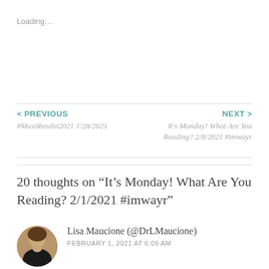Loading…
< PREVIOUS
#MustReadin2021 1/28/2021
NEXT >
It's Monday! What Are You Reading? 2/8/2021 #imwayr
20 thoughts on “It’s Monday! What Are You Reading? 2/1/2021 #imwayr”
Lisa Maucione (@DrLMaucione)
FEBRUARY 1, 2021 AT 6:09 AM